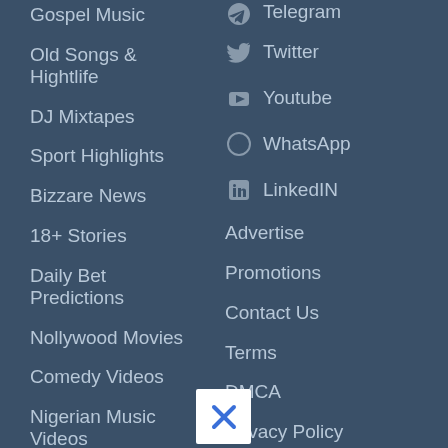Gospel Music
Old Songs & Hightlife
DJ Mixtapes
Sport Highlights
Bizzare News
18+ Stories
Daily Bet Predictions
Nollywood Movies
Comedy Videos
Nigerian Music Videos
Foreign Music
Telegram
Twitter
Youtube
WhatsApp
LinkedIN
Advertise
Promotions
Contact Us
Terms
DMCA
Privacy Policy
Sitemap
[Figure (other): Close/X button, white square with blue X mark]